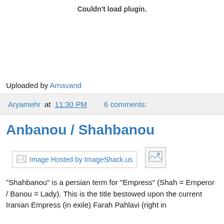Couldn't load plugin.
Uploaded by Amavand
Aryamehr at 11:30 PM   6 comments:
Anbanou / Shahbanou
[Figure (other): Image Hosted by ImageShack.us — broken image placeholder with small icon below]
"Shahbanou" is a persian term for "Empress" (Shah = Emperor / Banou = Lady). This is the title bestowed upon the current Iranian Empress (in exile) Farah Pahlavi (right in